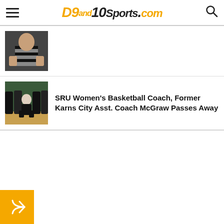D9and10Sports.com
[Figure (photo): Cropped photo of a referee in black and white striped shirt]
[Figure (photo): Photo of a bald basketball coach crouching on sideline at a green court, with players in black uniforms behind him]
SRU Women's Basketball Coach, Former Karns City Asst. Coach McGraw Passes Away